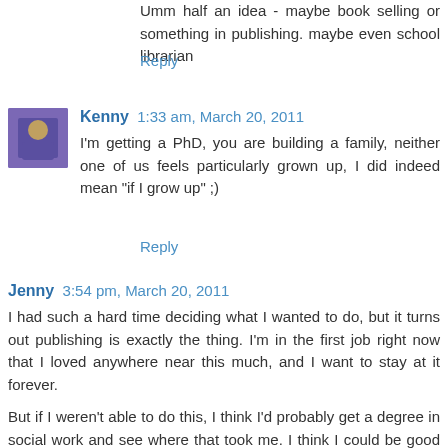Umm half an idea - maybe book selling or something in publishing. maybe even school librarian
Reply
Kenny 1:33 am, March 20, 2011
I'm getting a PhD, you are building a family, neither one of us feels particularly grown up, I did indeed mean "if I grow up" ;)
Reply
Jenny 3:54 pm, March 20, 2011
I had such a hard time deciding what I wanted to do, but it turns out publishing is exactly the thing. I'm in the first job right now that I loved anywhere near this much, and I want to stay at it forever.
But if I weren't able to do this, I think I'd probably get a degree in social work and see where that took me. I think I could be good at counseling.